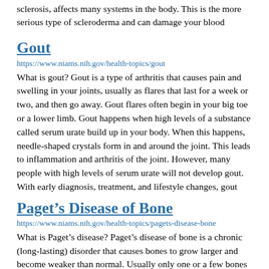sclerosis, affects many systems in the body. This is the more serious type of scleroderma and can damage your blood
Gout
https://www.niams.nih.gov/health-topics/gout
What is gout? Gout is a type of arthritis that causes pain and swelling in your joints, usually as flares that last for a week or two, and then go away. Gout flares often begin in your big toe or a lower limb. Gout happens when high levels of a substance called serum urate build up in your body. When this happens, needle-shaped crystals form in and around the joint. This leads to inflammation and arthritis of the joint. However, many people with high levels of serum urate will not develop gout. With early diagnosis, treatment, and lifestyle changes, gout
Paget’s Disease of Bone
https://www.niams.nih.gov/health-topics/pagets-disease-bone
What is Paget’s disease? Paget’s disease of bone is a chronic (long-lasting) disorder that causes bones to grow larger and become weaker than normal. Usually only one or a few bones have the disease. Many people with Paget’s disease do not have symptoms. However, the bone changes can cause: Bone pain. Misshapen bones. Broken bones (fractures). Problems in the joints near the